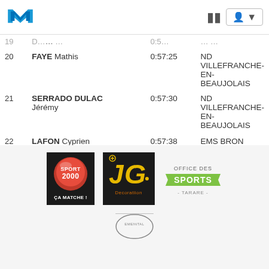Navigation bar with logo and icons
| # | Name | Time | Club |
| --- | --- | --- | --- |
| 19 | ... | 0:5x:xx | ... |
| 20 | FAYE Mathis | 0:57:25 | ND VILLEFRANCHE-EN-BEAUJOLAIS |
| 21 | SERRADO DULAC Jérémy | 0:57:30 | ND VILLEFRANCHE-EN-BEAUJOLAIS |
| 22 | LAFON Cyprien | 0:57:38 | EMS BRON |
| 23 | CHAPLAND Matteo | 0:58:90 | LYON NATATION |
| 24 | BENSALEM Massyl | 1:07:46 | LYON NATATION |
[Figure (logo): Sport 2000 - ÇA MATCHE! sponsor logo]
[Figure (logo): JG Decoration sponsor logo]
[Figure (logo): Office des Sports Tarare sponsor logo]
[Figure (logo): Elemental partial sponsor logo]